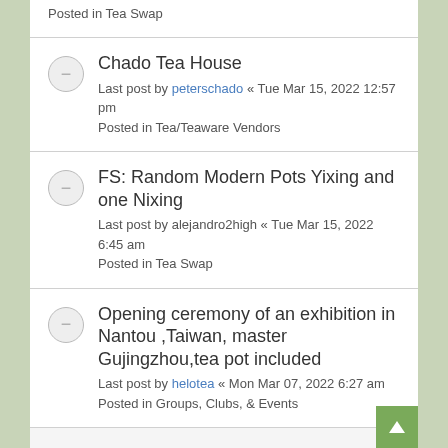Posted in Tea Swap
Chado Tea House
Last post by peterschado « Tue Mar 15, 2022 12:57 pm
Posted in Tea/Teaware Vendors
FS: Random Modern Pots Yixing and one Nixing
Last post by alejandro2high « Tue Mar 15, 2022 6:45 am
Posted in Tea Swap
Opening ceremony of an exhibition in Nantou ,Taiwan, master Gujingzhou,tea pot included
Last post by helotea « Mon Mar 07, 2022 6:27 am
Posted in Groups, Clubs, & Events